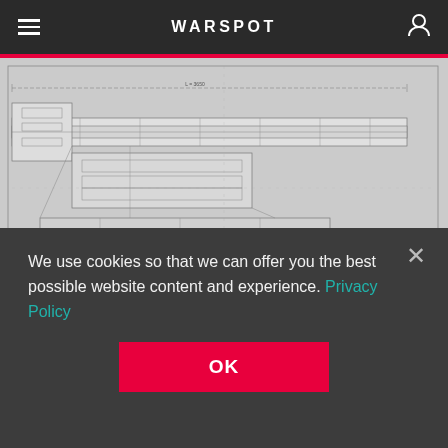WARSPOT
[Figure (engineering-diagram): Top-view engineering/technical drawing schematic of a gun mechanism, showing detailed cross-sectional blueprint lines, components, and annotations on a light gray background. A title block and table are visible in the lower right corner.]
The view from above shows how hard the gun crew's life would be
We use cookies so that we can offer you the best possible website content and experience. Privacy Policy
OK